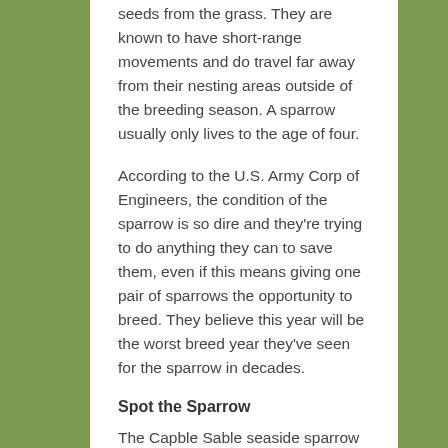seeds from the grass. They are known to have short-range movements and do travel far away from their nesting areas outside of the breeding season. A sparrow usually only lives to the age of four.
According to the U.S. Army Corp of Engineers, the condition of the sparrow is so dire and they're trying to do anything they can to save them, even if this means giving one pair of sparrows the opportunity to breed. They believe this year will be the worst breed year they've seen for the sparrow in decades.
Spot the Sparrow
The Capble Sable seaside sparrow is disappearing. A change in a mere couple of centimeters of water in the sparrow's habitat can determine whether or not the birds can or will breed. Scientists